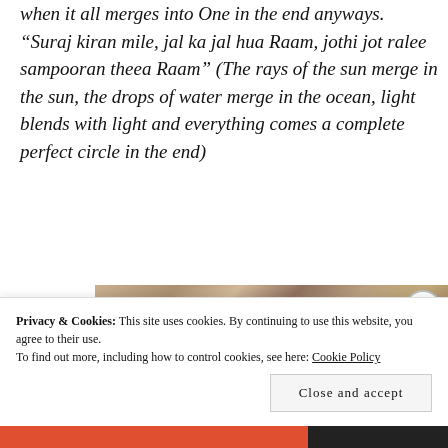when it all merges into One in the end anyways. “Suraj kiran mile, jal ka jal hua Raam, jothi jot ralee sampooran theea Raam” (The rays of the sun merge in the sun, the drops of water merge in the ocean, light blends with light and everything comes a complete perfect circle in the end)
[Figure (photo): A partial photo strip showing what appears to be a sandy or earthy textured surface.]
Privacy & Cookies: This site uses cookies. By continuing to use this website, you agree to their use.
To find out more, including how to control cookies, see here: Cookie Policy
Close and accept